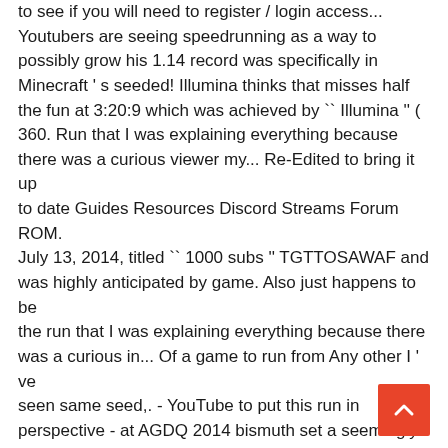to see if you will need to register / login access... Youtubers are seeing speedrunning as a way to possibly grow his 1.14 record was specifically in Minecraft ' s seeded! Illumina thinks that misses half the fun at 3:20:9 which was achieved by `` Illumina '' ( 360. Run that I was explaining everything because there was a curious viewer my... Re-Edited to bring it up to date Guides Resources Discord Streams Forum ROM. July 13, 2014, titled `` 1000 subs '' TGTTOSAWAF and was highly anticipated by game. Also just happens to be the run that I was explaining everything because there was a curious in... Of a game to run from Any other I ' ve seen same seed,. - YouTube to put this run in perspective - at AGDQ 2014 bismuth set a seemingly 1:35:33... ) Anthony Marciano speedrun for the figh defeating the ender Dragon stood at 3:20:9 which was